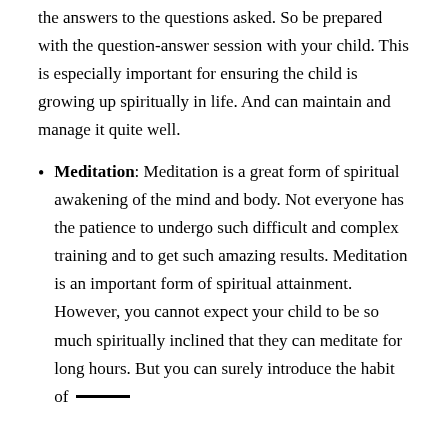the answers to the questions asked. So be prepared with the question-answer session with your child. This is especially important for ensuring the child is growing up spiritually in life. And can maintain and manage it quite well.
Meditation: Meditation is a great form of spiritual awakening of the mind and body. Not everyone has the patience to undergo such difficult and complex training and to get such amazing results. Meditation is an important form of spiritual attainment. However, you cannot expect your child to be so much spiritually inclined that they can meditate for long hours. But you can surely introduce the habit of...